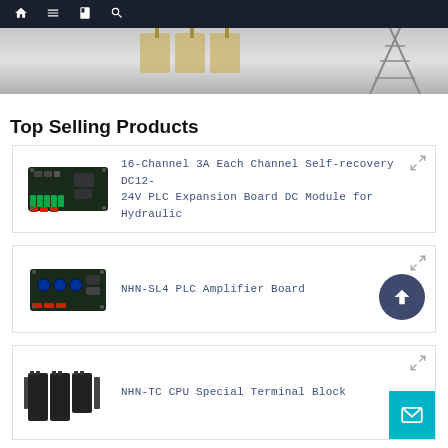Navigation bar with home, menu, book, search icons
[Figure (photo): Hero banner image showing electrical/industrial equipment on a grey gradient background]
Top Selling Products
16-Channel 3A Each Channel Self-recovery DC12-24V PLC Expansion Board DC Module for Hydraulic
NHN-SL4 PLC Amplifier Board
NHN-TC CPU Special Terminal Block